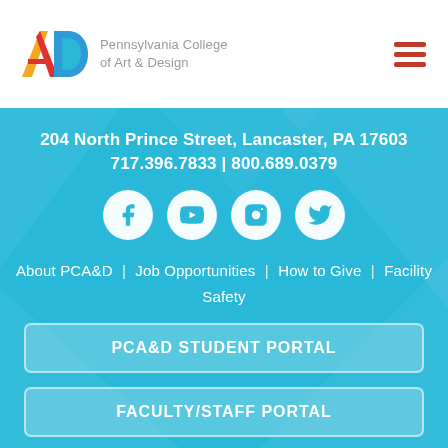Pennsylvania College of Art & Design
204 North Prince Street, Lancaster, PA 17603
717.396.7833 | 800.689.0379
[Figure (infographic): Social media icons: Facebook, YouTube, Instagram, Twitter]
About PCA&D | Job Opportunities | How to Give | Facility Safety
PCA&D STUDENT PORTAL
FACULTY/STAFF PORTAL
© 2022 Pennsylvania College of Art & Design. All Rights Reserved | Privacy Policy